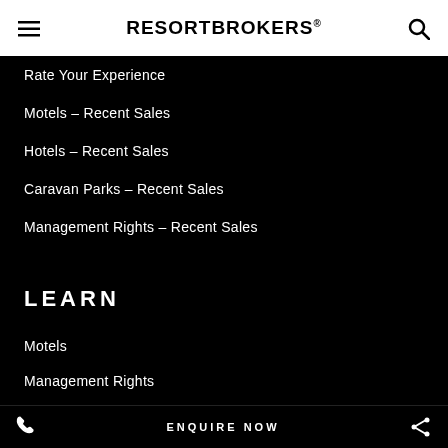RESORTBROKERS®
Rate Your Experience
Motels – Recent Sales
Hotels – Recent Sales
Caravan Parks – Recent Sales
Management Rights – Recent Sales
LEARN
Motels
Management Rights
Caravan Parks
Serviced Apartments
Off The Plan
Hotels
Our Informer Magazine
ENQUIRE NOW